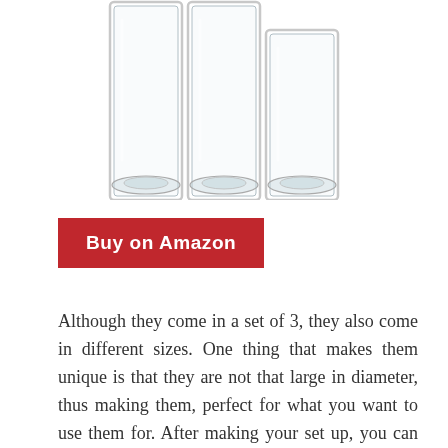[Figure (photo): Three clear glass cylindrical vases/candle holders of varying heights, viewed from above at an angle, showing transparent glass bodies and circular bases.]
Buy on Amazon
Although they come in a set of 3, they also come in different sizes. One thing that makes them unique is that they are not that large in diameter, thus making them, perfect for what you want to use them for. After making your set up, you can add lights on them to make them look fabulous. You can purchase the candles separately if you need to use them